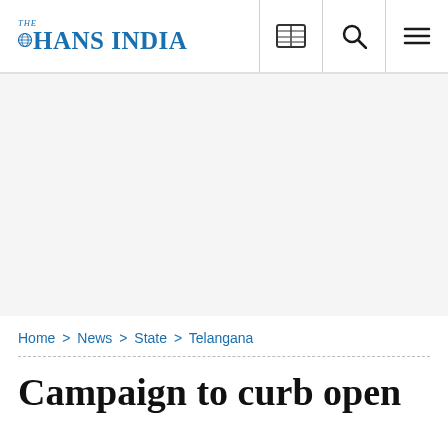THE HANS INDIA
[Figure (other): Advertisement blank area]
Home > News > State > Telangana
Campaign to curb open